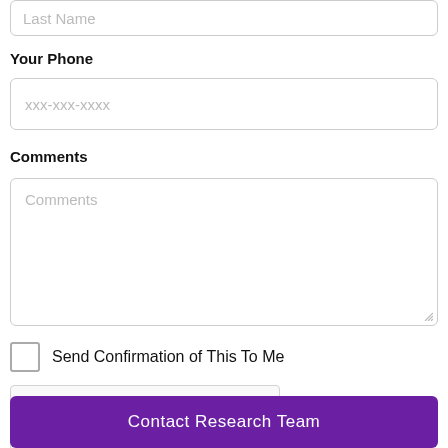Last Name
Your Phone
xxx-xxx-xxxx
Comments
Comments
Send Confirmation of This To Me
[Figure (other): reCAPTCHA widget with checkbox labeled I'm not a robot]
Contact Research Team